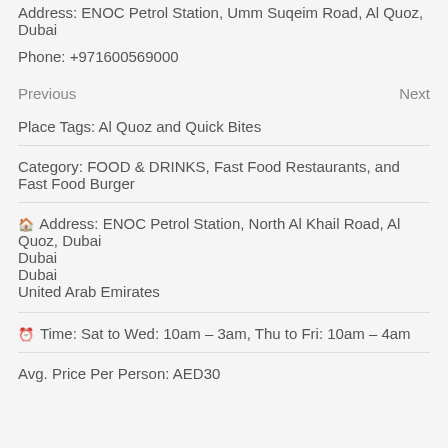Address: ENOC Petrol Station, Umm Suqeim Road, Al Quoz, Dubai
Phone: +971600569000
Previous   Next
Place Tags: Al Quoz and Quick Bites
Category: FOOD & DRINKS, Fast Food Restaurants, and Fast Food Burger
Address: ENOC Petrol Station, North Al Khail Road, Al Quoz, Dubai
Dubai
Dubai
United Arab Emirates
Time: Sat to Wed: 10am – 3am, Thu to Fri: 10am – 4am
Avg. Price Per Person: AED30